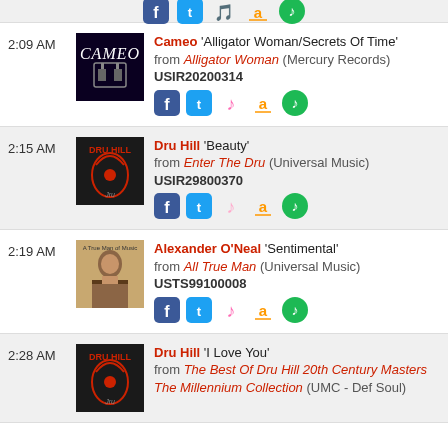2:09 AM — Cameo 'Alligator Woman/Secrets Of Time' from Alligator Woman (Mercury Records) USIR20200314
2:15 AM — Dru Hill 'Beauty' from Enter The Dru (Universal Music) USIR29800370
2:19 AM — Alexander O'Neal 'Sentimental' from All True Man (Universal Music) USTS99100008
2:28 AM — Dru Hill 'I Love You' from The Best Of Dru Hill 20th Century Masters The Millennium Collection (UMC - Def Soul)